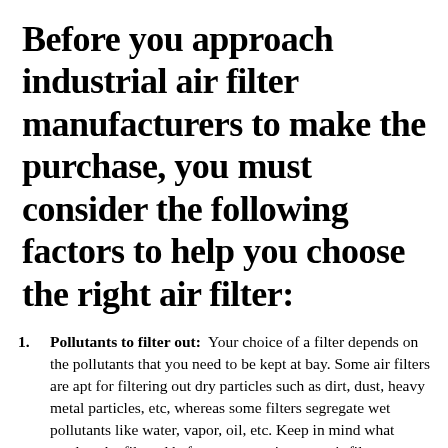Before you approach industrial air filter manufacturers to make the purchase, you must consider the following factors to help you choose the right air filter:
Pollutants to filter out: Your choice of a filter depends on the pollutants that you need to be kept at bay. Some air filters are apt for filtering out dry particles such as dirt, dust, heavy metal particles, etc, whereas some filters segregate wet pollutants like water, vapor, oil, etc. Keep in mind what needs to be filtered before you zero-in on an air filter.
Line of work: The industry that you work with also determines the type of air filters to use. If you are into